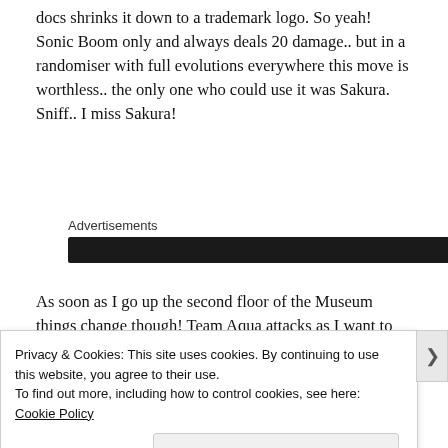docs shrinks it down to a trademark logo. So yeah! Sonic Boom only and always deals 20 damage.. but in a randomiser with full evolutions everywhere this move is worthless.. the only one who could use it was Sakura. Sniff.. I miss Sakura!
Advertisements
[Figure (other): Black advertisement banner]
As soon as I go up the second floor of the Museum things change though! Team Aqua attacks as I want to give Mister Stern his stupid package.. now they
Privacy & Cookies: This site uses cookies. By continuing to use this website, you agree to their use.
To find out more, including how to control cookies, see here: Cookie Policy
Close and accept